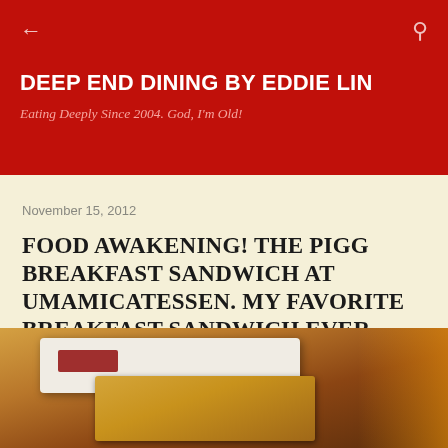DEEP END DINING BY EDDIE LIN
Eating Deeply Since 2004. God, I'm Old!
November 15, 2012
FOOD AWAKENING! THE PIGG BREAKFAST SANDWICH AT UMAMICATESSEN. MY FAVORITE BREAKFAST SANDWICH EVER. DOWNTOWN LA.
—
[Figure (photo): Photo of a breakfast sandwich on a white plate, showing a golden-brown sandwich with sauce, photographed on a dark surface]